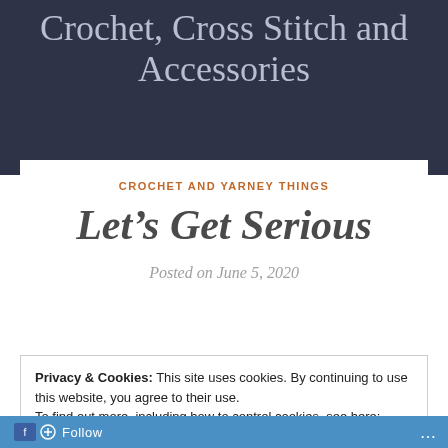Crochet, Cross Stitch and Accessories
CROCHET AND YARNEY THINGS
Let’s Get Serious
Posted on June 5, 2020
Privacy & Cookies: This site uses cookies. By continuing to use this website, you agree to their use.
To find out more, including how to control cookies, see here: Cookie Policy
Close and accept
Follow